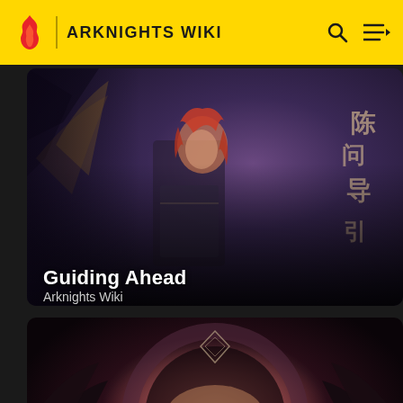ARKNIGHTS WIKI
[Figure (illustration): Arknights wiki card: Guiding Ahead - anime character with red hair in armored outfit, fantasy artwork]
Guiding Ahead
Arknights Wiki
[Figure (illustration): Arknights wiki card: Episode 10 Shatterpoint (破碎日冕) - dark fantasy artwork with creature wings and glowing orb, Chinese and English text]
Episode 10